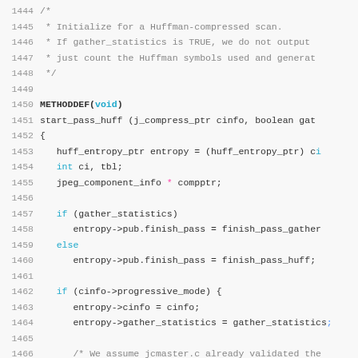[Figure (screenshot): Source code listing in C, showing lines 1444-1473 of a Huffman compression function implementation. Lines include comments, function definition METHODDEF(void), start_pass_huff, variable declarations, if/else blocks with gather_statistics and progressive_mode checks, and encode_mcu assignments.]